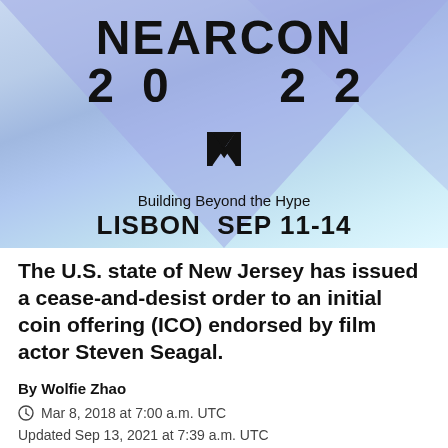[Figure (logo): NEARCON 2022 conference logo with triangular geometric background in blue/teal gradient. Text reads: NEARCON 20 22, NEAR logo symbol, Building Beyond the Hype, LISBON SEP 11-14]
The U.S. state of New Jersey has issued a cease-and-desist order to an initial coin offering (ICO) endorsed by film actor Steven Seagal.
By Wolfie Zhao
Mar 8, 2018 at 7:00 a.m. UTC
Updated Sep 13, 2021 at 7:39 a.m. UTC